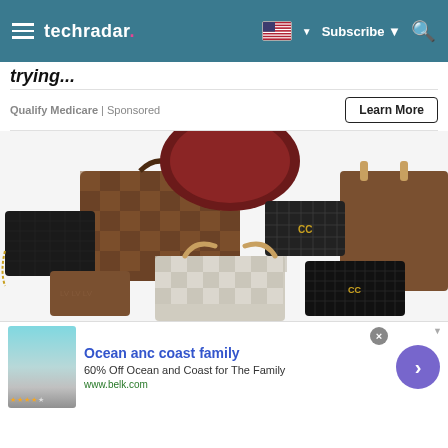techradar | Subscribe | (navigation bar)
Qualify Medicare | Sponsored
Learn More
trying...
[Figure (photo): A large collection of luxury designer handbags piled together, including Louis Vuitton monogram and damier bags, Chanel quilted bags, and other high-end leather purses in brown, black, and burgundy colors.]
Ocean anc coast family
60% Off Ocean and Coast for The Family
www.belk.com